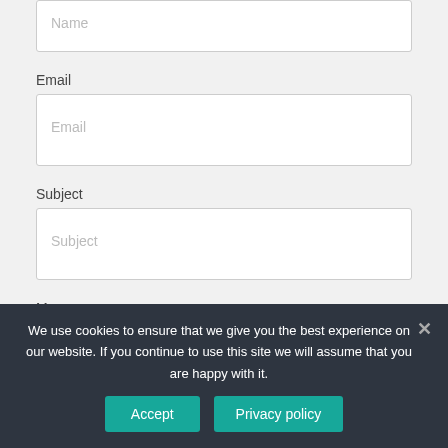Name
Email
Subject
Message
We use cookies to ensure that we give you the best experience on our website. If you continue to use this site we will assume that you are happy with it.
Accept
Privacy policy